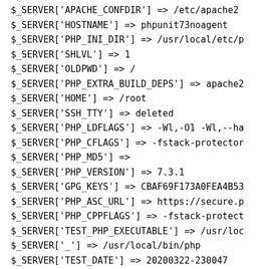$_SERVER['APACHE_CONFDIR'] => /etc/apache2
$_SERVER['HOSTNAME'] => phpunit73noagent
$_SERVER['PHP_INI_DIR'] => /usr/local/etc/p
$_SERVER['SHLVL'] => 1
$_SERVER['OLDPWD'] => /
$_SERVER['PHP_EXTRA_BUILD_DEPS'] => apache2
$_SERVER['HOME'] => /root
$_SERVER['SSH_TTY'] => deleted
$_SERVER['PHP_LDFLAGS'] => -Wl,-O1 -Wl,--ha
$_SERVER['PHP_CFLAGS'] => -fstack-protector
$_SERVER['PHP_MD5'] =>
$_SERVER['PHP_VERSION'] => 7.3.1
$_SERVER['GPG_KEYS'] => CBAF69F173A0FEA4B53
$_SERVER['PHP_ASC_URL'] => https://secure.p
$_SERVER['PHP_CPPFLAGS'] => -fstack-protect
$_SERVER['TEST_PHP_EXECUTABLE'] => /usr/loc
$_SERVER['_'] => /usr/local/bin/php
$_SERVER['TEST_DATE'] => 20200322-230047
$_SERVER['PHP_URL'] => https://secure.php.n